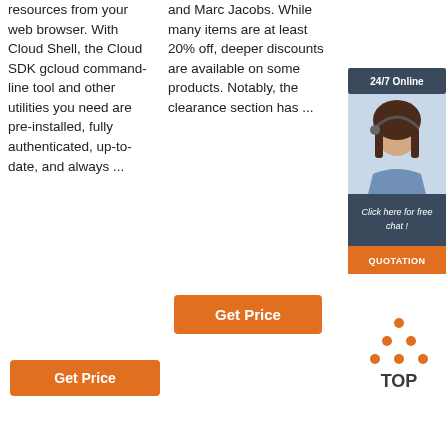resources from your web browser. With Cloud Shell, the Cloud SDK gcloud command-line tool and other utilities you need are pre-installed, fully authenticated, up-to-date, and always ...
and Marc Jacobs. While many items are at least 20% off, deeper discounts are available on some products. Notably, the clearance section has ...
[Figure (photo): 24/7 Online chat advertisement banner with a woman wearing a headset, orange QUOTATION button]
Get Price
Get Price
[Figure (logo): TOP logo with orange dots forming a triangle above the word TOP]